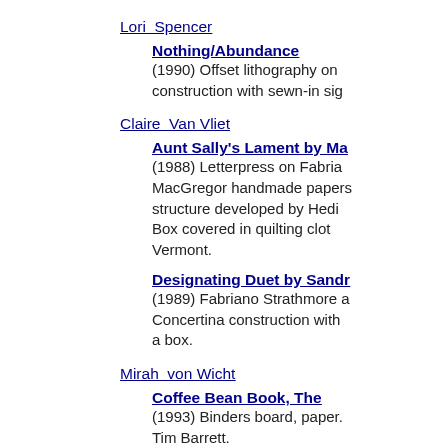Lori  Spencer
Nothing/Abundance
(1990) Offset lithography on construction with sewn-in sig
Claire  Van Vliet
Aunt Sally's Lament by Ma
(1988) Letterpress on Fabria MacGregor handmade papers structure developed by Hedi Box covered in quilting clot Vermont.
Designating Duet by Sandr
(1989) Fabriano Strathmore a Concertina construction with a box.
Mirah  von Wicht
Coffee Bean Book, The
(1993) Binders board, paper. Tim Barrett.